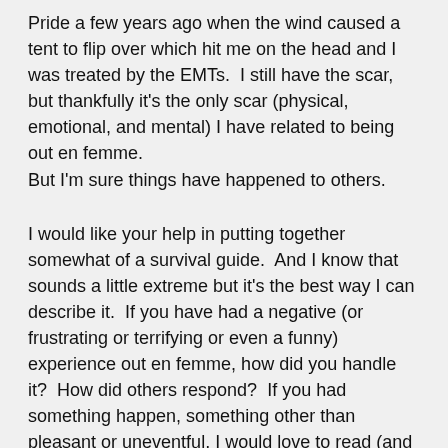Pride a few years ago when the wind caused a tent to flip over which hit me on the head and I was treated by the EMTs.  I still have the scar, but thankfully it's the only scar (physical, emotional, and mental) I have related to being out en femme.
But I'm sure things have happened to others.
I would like your help in putting together somewhat of a survival guide.  And I know that sounds a little extreme but it's the best way I can describe it.  If you have had a negative (or frustrating or terrifying or even a funny) experience out en femme, how did you handle it?  How did others respond?  If you had something happen, something other than pleasant or uneventful, I would love to read (and post) your experience on this site.
Some of the things I have in mind: